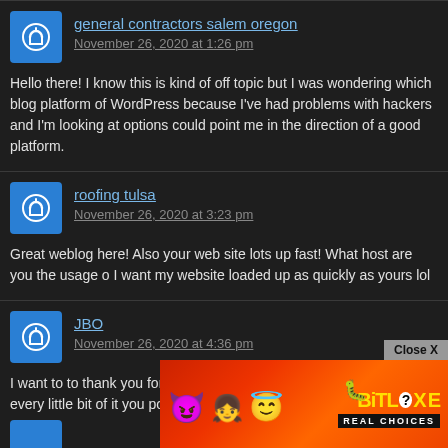general contractors salem oregon
November 26, 2020 at 1:26 pm
Hello there! I know this is kind of off topic but I was wondering which blog platform of WordPress because I've had problems with hackers and I'm looking at options could point me in the direction of a good platform.
roofing tulsa
November 26, 2020 at 3:23 pm
Great weblog here! Also your web site lots up fast! What host are you the usage o I want my website loaded up as quickly as yours lol
JBO
November 26, 2020 at 4:36 pm
I want to to thank you for this fantastic read!! I definitely enjoyed every little bit of it you post...
[Figure (screenshot): BitLife REAL CHOICES advertisement banner with cartoon emoji characters on red/orange background]